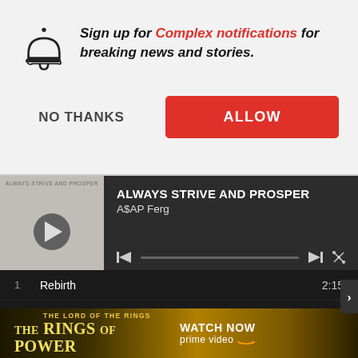Sign up for Complex notifications for breaking news and stories.
NO THANKS
ALLOW
[Figure (screenshot): Spotify music player showing album 'Always Strive and Prosper' by A$AP Ferg with tracklist]
[Figure (infographic): Advertisement banner for The Lord of the Rings: The Rings of Power on Prime Video]